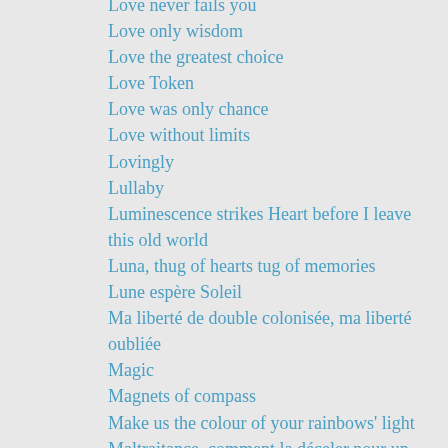Love never fails you
Love only wisdom
Love the greatest choice
Love Token
Love was only chance
Love without limits
Lovingly
Lullaby
Luminescence strikes Heart before I leave this old world
Luna, thug of hearts tug of memories
Lune espère Soleil
Ma liberté de double colonisée, ma liberté oubliée
Magic
Magnets of compass
Make us the colour of your rainbows' light
Maltraitance, comment la déceler pour un néophyte
Man and sun conspired
Mani pulite
Many into One
March defunct